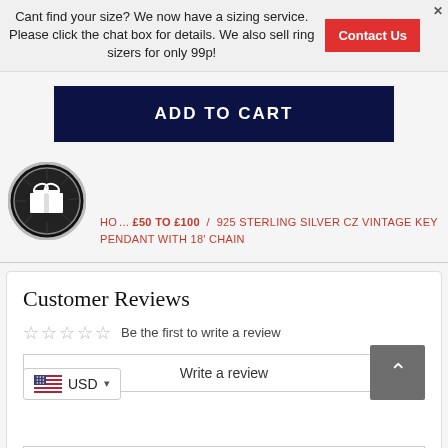Cant find your size? We now have a sizing service. Please click the chat box for details. We also sell ring sizers for only 99p!
Contact Us
ADD TO CART
[Figure (logo): Black circular gift icon with radiating lines]
HO... £50 TO £100 / 925 STERLING SILVER CZ VINTAGE KEY PENDANT WITH 18' CHAIN
Customer Reviews
☆☆☆☆☆  Be the first to write a review
Write a review
USD
Ask a question